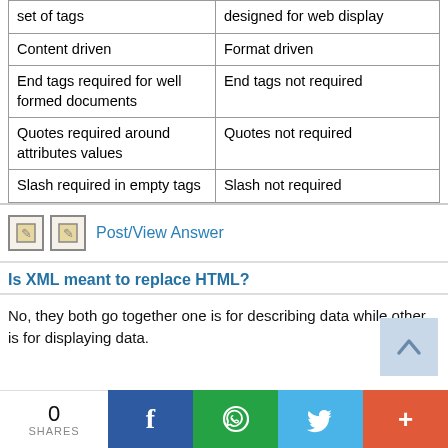| XML | HTML |
| --- | --- |
| set of tags | designed for web display |
| Content driven | Format driven |
| End tags required for well formed documents | End tags not required |
| Quotes required around attributes values | Quotes not required |
| Slash required in empty tags | Slash not required |
Post/View Answer
Is XML meant to replace HTML?
No, they both go together one is for describing data while other is for displaying data.
0 SHARES  f  WhatsApp  Twitter  +